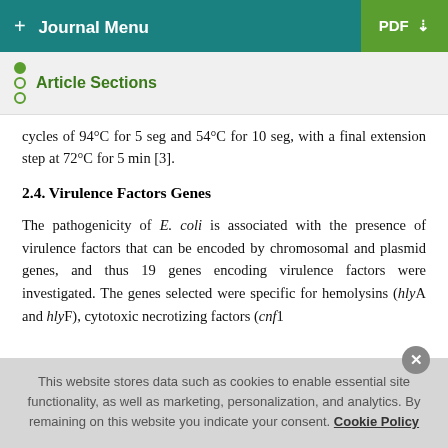+ Journal Menu   PDF ↓
Article Sections
cycles of 94°C for 5 seg and 54°C for 10 seg, with a final extension step at 72°C for 5 min [3].
2.4. Virulence Factors Genes
The pathogenicity of E. coli is associated with the presence of virulence factors that can be encoded by chromosomal and plasmid genes, and thus 19 genes encoding virulence factors were investigated. The genes selected were specific for hemolysins (hlyA and hlyF), cytotoxic necrotizing factors (cnf1
This website stores data such as cookies to enable essential site functionality, as well as marketing, personalization, and analytics. By remaining on this website you indicate your consent. Cookie Policy